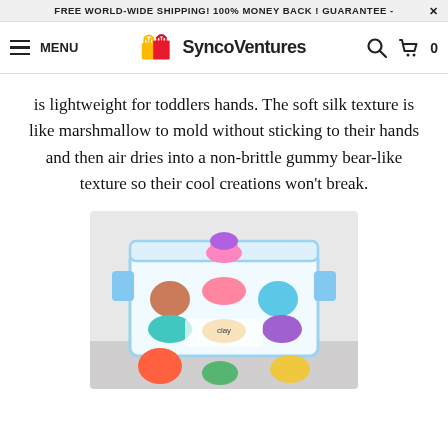FREE WORLD-WIDE SHIPPING! 100% MONEY BACK ! GUARANTEE - ✕
[Figure (logo): SyncoVentures logo with shopping bags icon and site navigation bar including hamburger menu, search icon, and cart icon showing 0 items]
is lightweight for toddlers hands. The soft silk texture is like marshmallow to mold without sticking to their hands and then air dries into a non-brittle gummy bear-like texture so their cool creations won't break.
[Figure (photo): Colorful clay kit in a clear plastic container with various bright colored clay pots and a decorative cupcake shaped clay creation on top]